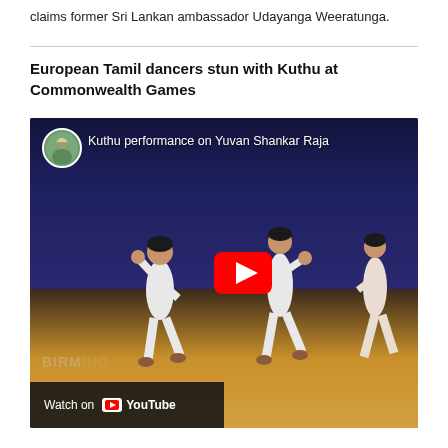claims former Sri Lankan ambassador Udayanga Weeratunga.
European Tamil dancers stun with Kuthu at Commonwealth Games
[Figure (screenshot): YouTube video thumbnail showing Tamil dancers in white attire performing Kuthu dance on a stage at Commonwealth Games in Birmingham. The video is titled 'Kuthu performance on Yuvan Shankar Raja'. A large red YouTube play button is visible in the center. The bottom left shows a 'Watch on YouTube' overlay bar with the YouTube logo.]